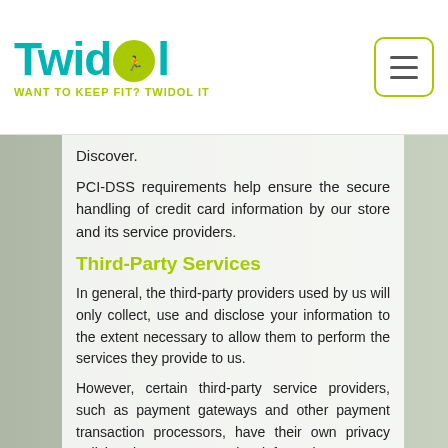[Figure (logo): Twidol logo with teal text and lime green runner icon and tagline 'WANT TO KEEP FIT? TWIDOL IT']
Discover.
PCI-DSS requirements help ensure the secure handling of credit card information by our store and its service providers.
Third-Party Services
In general, the third-party providers used by us will only collect, use and disclose your information to the extent necessary to allow them to perform the services they provide to us.
However, certain third-party service providers, such as payment gateways and other payment transaction processors, have their own privacy policies in respect to the information we are required